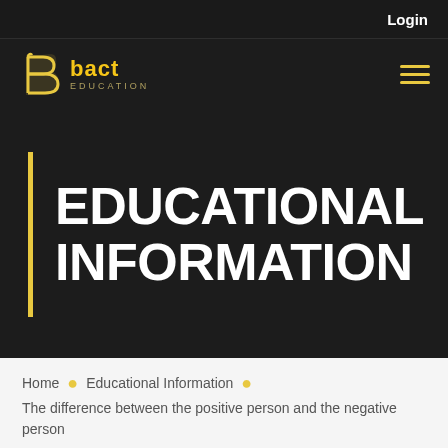Login
[Figure (logo): Bact Education logo with yellow stylized B icon and text 'bact education']
EDUCATIONAL INFORMATION
Home · Educational Information · The difference between the positive person and the negative person